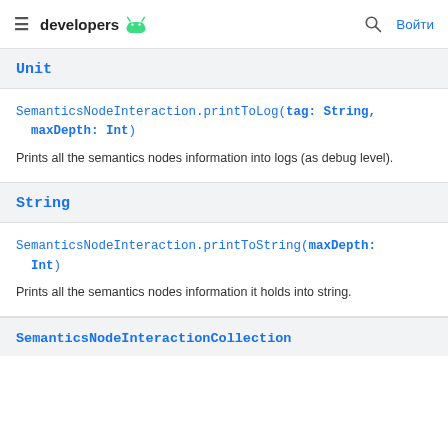≡ developers 🤖 🔍 Войти
Unit
SemanticsNodeInteraction.printToLog(tag: String, maxDepth: Int)
Prints all the semantics nodes information into logs (as debug level).
String
SemanticsNodeInteraction.printToString(maxDepth: Int)
Prints all the semantics nodes information it holds into string.
SemanticsNodeInteractionCollection